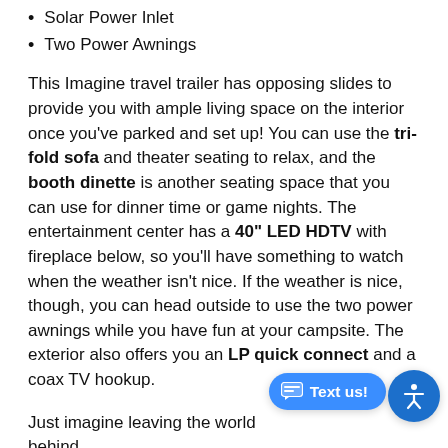Solar Power Inlet
Two Power Awnings
This Imagine travel trailer has opposing slides to provide you with ample living space on the interior once you've parked and set up! You can use the tri-fold sofa and theater seating to relax, and the booth dinette is another seating space that you can use for dinner time or game nights. The entertainment center has a 40" LED HDTV with fireplace below, so you'll have something to watch when the weather isn't nice. If the weather is nice, though, you can head outside to use the two power awnings while you have fun at your campsite. The exterior also offers you an LP quick connect and a coax TV hookup.
Just imagine leaving the world behind and secluding yourself away with your favo… in your Grand Design Imagine travel trailer! The